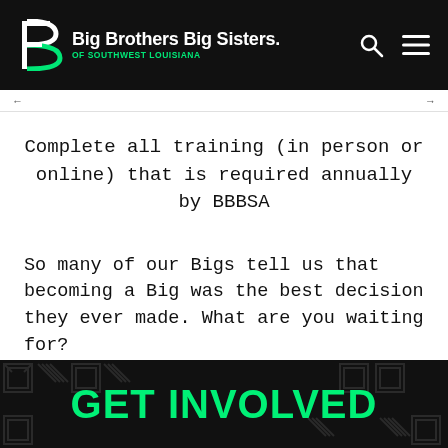Big Brothers Big Sisters. OF SOUTHWEST LOUISIANA
Complete all training (in person or online) that is required annually by BBBSA
So many of our Bigs tell us that becoming a Big was the best decision they ever made. What are you waiting for?
GET INVOLVED